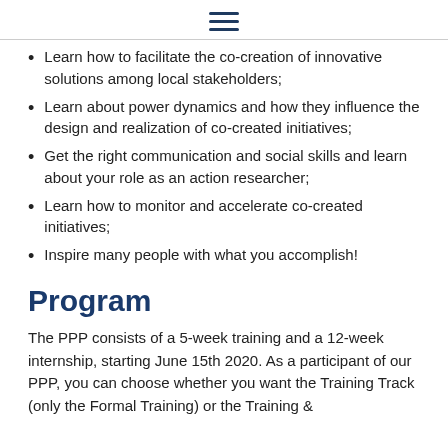☰
Learn how to facilitate the co-creation of innovative solutions among local stakeholders;
Learn about power dynamics and how they influence the design and realization of co-created initiatives;
Get the right communication and social skills and learn about your role as an action researcher;
Learn how to monitor and accelerate co-created initiatives;
Inspire many people with what you accomplish!
Program
The PPP consists of a 5-week training and a 12-week internship, starting June 15th 2020. As a participant of our PPP, you can choose whether you want the Training Track (only the Formal Training) or the Training &